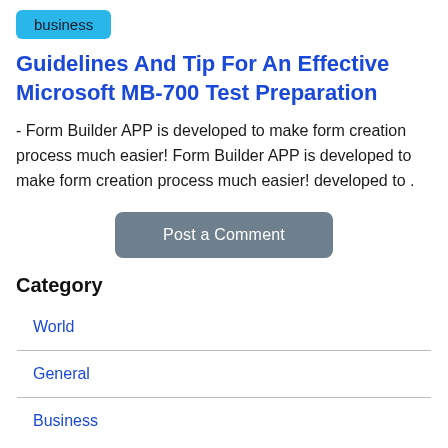business
Guidelines And Tip For An Effective Microsoft MB-700 Test Preparation
- Form Builder APP is developed to make form creation process much easier! Form Builder APP is developed to make form creation process much easier! developed to .
Post a Comment
Category
| World |
| General |
| Business |